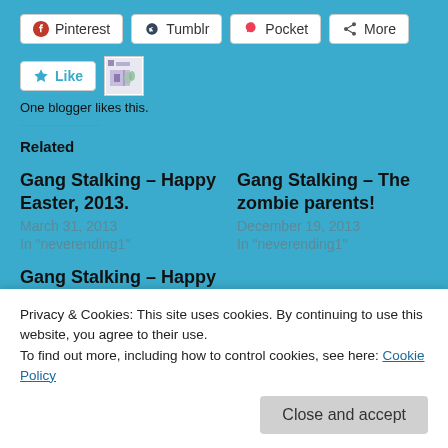[Figure (screenshot): Row of social share buttons: Pinterest, Tumblr, Pocket, More]
[Figure (screenshot): Like button with star icon and blogger avatar thumbnail]
One blogger likes this.
Related
Gang Stalking – Happy Easter, 2013.
March 31, 2013
In "neverending1"
Gang Stalking – The zombie parents!
December 19, 2013
In "neverending1"
Gang Stalking – Happy St. Paddy's Day, everyone.
March 17, 2013
Privacy & Cookies: This site uses cookies. By continuing to use this website, you agree to their use.
To find out more, including how to control cookies, see here: Cookie Policy